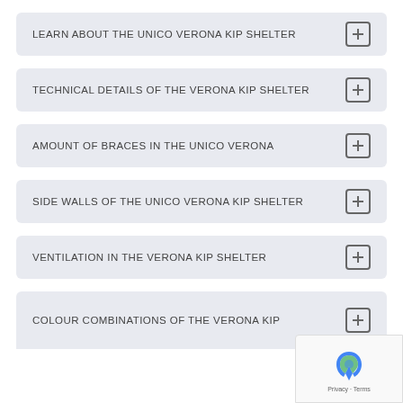LEARN ABOUT THE UNICO VERONA KIP SHELTER
TECHNICAL DETAILS OF THE VERONA KIP SHELTER
AMOUNT OF BRACES IN THE UNICO VERONA
SIDE WALLS OF THE UNICO VERONA KIP SHELTER
VENTILATION IN THE VERONA KIP SHELTER
COLOUR COMBINATIONS OF THE VERONA KIP